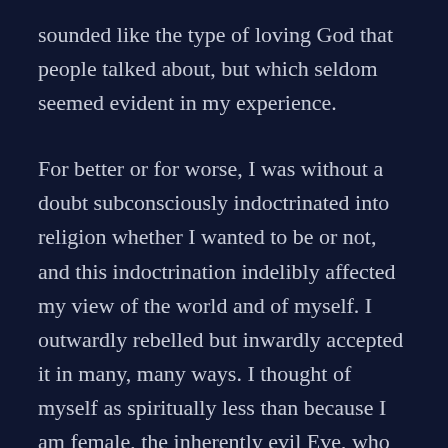sounded like the type of loving God that people talked about, but which seldom seemed evident in my experience.
For better or for worse, I was without a doubt subconsciously indoctrinated into religion whether I wanted to be or not, and this indoctrination indelibly affected my view of the world and of myself. I outwardly rebelled but inwardly accepted it in many, many ways. I thought of myself as spiritually less than because I am female, the inherently evil Eve, who must be punished. I often thought at God with much vitriol in regards to the unfairness of it all. When I was very young, I oft lamented not having been born a boy. A